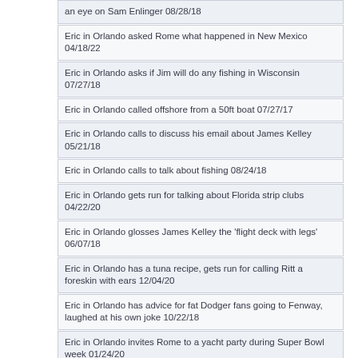an eye on Sam Enlinger 08/28/18
Eric in Orlando asked Rome what happened in New Mexico 04/18/22
Eric in Orlando asks if Jim will do any fishing in Wisconsin 07/27/18
Eric in Orlando called offshore from a 50ft boat 07/27/17
Eric in Orlando calls to discuss his email about James Kelley 05/21/18
Eric in Orlando calls to talk about fishing 08/24/18
Eric in Orlando gets run for talking about Florida strip clubs 04/22/20
Eric in Orlando glosses James Kelley the 'flight deck with legs' 06/07/18
Eric in Orlando has a tuna recipe, gets run for calling Ritt a foreskin with ears 12/04/20
Eric in Orlando has advice for fat Dodger fans going to Fenway, laughed at his own joke 10/22/18
Eric in Orlando invites Rome to a yacht party during Super Bowl week 01/24/20
Eric in Orlando is concerned about his pics on CBS, talks Patriots Chargers 01/11/19
Eric in Orlando is going to hang out by the yachts at the boat show with his Boston posse and some chicks 11/01/19
Eric in Orlando is having a Smackoff listening party on a yacht 06/20/19
Eric in Orlando is looking for Jungle Karma because the fish aren't biting 07/26/19
Eric in Orlando says Alvie is a creepy dude, gets racked 03/30/18
Eric in Orlando takes a run at California with lobster smack 09/19/18